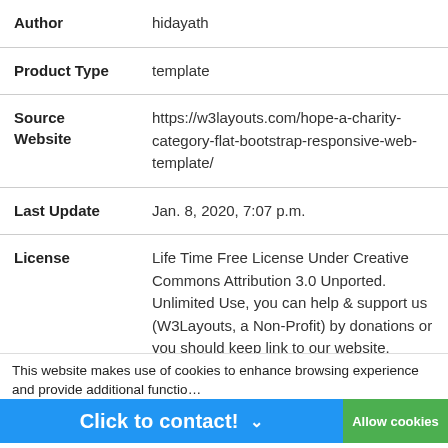| Field | Value |
| --- | --- |
| Author | hidayath |
| Product Type | template |
| Source Website | https://w3layouts.com/hope-a-charity-category-flat-bootstrap-responsive-web-template/ |
| Last Update | Jan. 8, 2020, 7:07 p.m. |
| License | Life Time Free License Under Creative Commons Attribution 3.0 Unported. Unlimited Use, you can help & support us (W3Layouts, a Non-Profit) by donations or you should keep link to our website. |
| Price (excl. | $100.00 |
This website makes use of cookies to enhance browsing experience and provide additional functio...
Price   $100.00